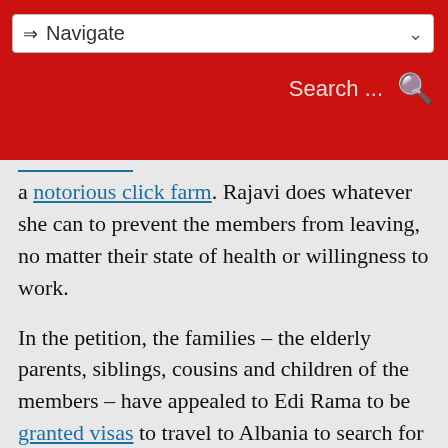⇒ Navigate
Search ...
a notorious click farm. Rajavi does whatever she can to prevent the members from leaving, no matter their state of health or willingness to work.
In the petition, the families – the elderly parents, siblings, cousins and children of the members – have appealed to Edi Rama to be granted visas to travel to Albania to search for their loved ones. These have so far been refused. But preventing the members from having contact with their families is just one element in a panoply of tactics designed to prevent defections. The MEK members have been denied